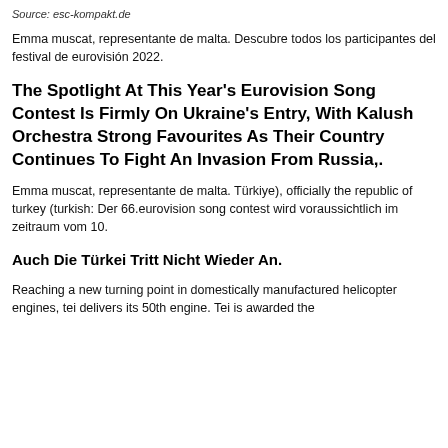Source: esc-kompakt.de
Emma muscat, representante de malta. Descubre todos los participantes del festival de eurovisión 2022.
The Spotlight At This Year's Eurovision Song Contest Is Firmly On Ukraine's Entry, With Kalush Orchestra Strong Favourites As Their Country Continues To Fight An Invasion From Russia,.
Emma muscat, representante de malta. Türkiye), officially the republic of turkey (turkish: Der 66.eurovision song contest wird voraussichtlich im zeitraum vom 10.
Auch Die Türkei Tritt Nicht Wieder An.
Reaching a new turning point in domestically manufactured helicopter engines, tei delivers its 50th engine. Tei is awarded the